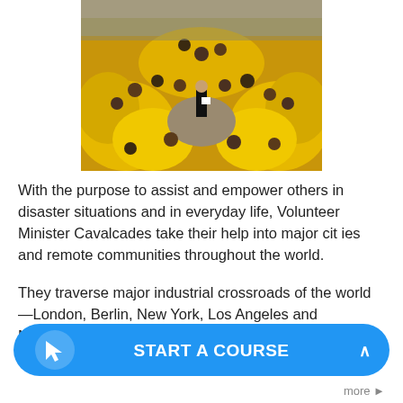[Figure (photo): Large group of people wearing yellow t-shirts gathered in a circle outdoors, viewed from an elevated angle. A person stands in the center of the circle.]
With the purpose to assist and empower others in disaster situations and in everyday life, Volunteer Minister Cavalcades take their help into major cit ies and remote communities throughout the world.
They traverse major industrial crossroads of the world—London, Berlin, New York, Los Angeles and Melbourne—as well as the Amazo... Centra...
[Figure (other): Blue rounded pill-shaped button with a cursor/arrow icon on the left and text START A COURSE with an up caret on the right]